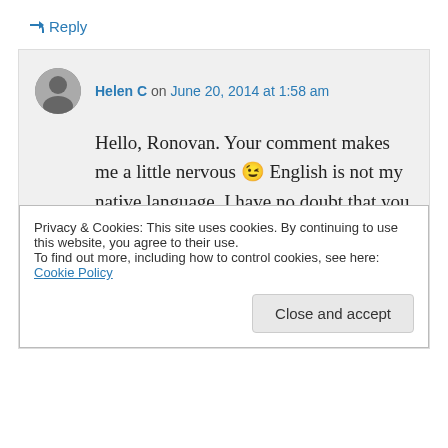↳ Reply
Helen C on June 20, 2014 at 1:58 am
Hello, Ronovan. Your comment makes me a little nervous 😉 English is not my native language. I have no doubt that you write much better than I do 😉 Thanks for being so kind. It's interested that we both like writing YA novel. I can't wait to read more
Privacy & Cookies: This site uses cookies. By continuing to use this website, you agree to their use.
To find out more, including how to control cookies, see here: Cookie Policy
Close and accept